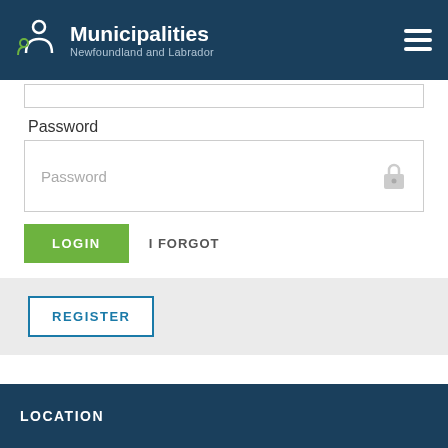[Figure (logo): Municipalities Newfoundland and Labrador logo with stylized figure icon on dark blue header bar with hamburger menu icon]
Password
Password (input field placeholder)
LOGIN
I FORGOT
REGISTER
LOCATION